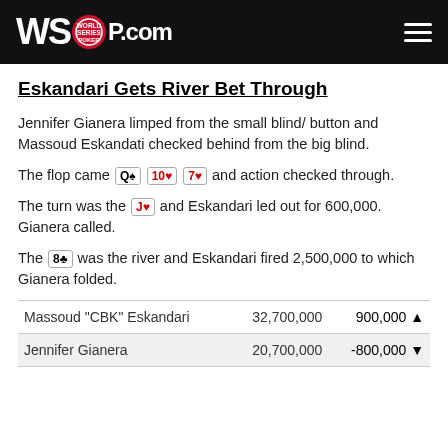WSOP.COM
Eskandari Gets River Bet Through
Jennifer Gianera limped from the small blind/ button and Massoud Eskandati checked behind from the big blind.
The flop came Q♠ 10♥ 7♥ and action checked through.
The turn was the J♥ and Eskandari led out for 600,000. Gianera called.
The 8♣ was the river and Eskandari fired 2,500,000 to which Gianera folded.
| Player | Chips | Change |
| --- | --- | --- |
| Massoud "CBK" Eskandari | 32,700,000 | 900,000 ▲ |
| Jennifer Gianera | 20,700,000 | -800,000 ▼ |